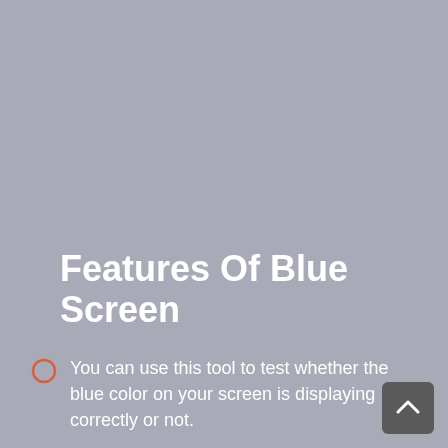Features Of Blue Screen
You can use this tool to test whether the blue color on your screen is displaying correctly or not.
[Figure (other): Scroll-to-top button with upward chevron arrow in dark grey rounded rectangle, positioned bottom-right corner]